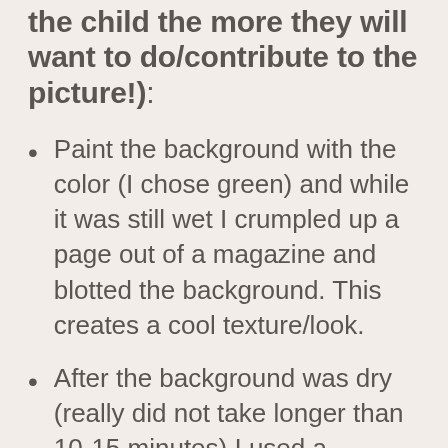the child the more they will want to do/contribute to the picture!):
Paint the background with the color (I chose green) and while it was still wet I crumpled up a page out of a magazine and blotted the background. This creates a cool texture/look.
After the background was dry (really did not take longer than 10-15 minutes) I used a